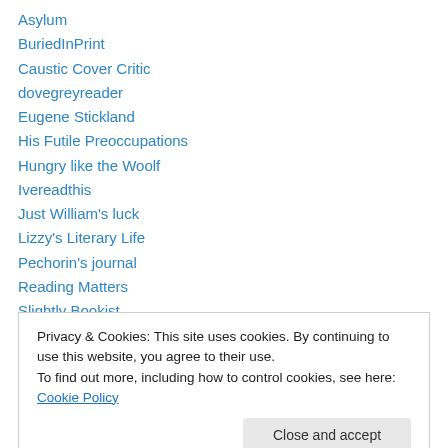Asylum
BuriedInPrint
Caustic Cover Critic
dovegreyreader
Eugene Stickland
His Futile Preoccupations
Hungry like the Woolf
Ivereadthis
Just William's luck
Lizzy's Literary Life
Pechorin's journal
Reading Matters
Slightly Bookist
Privacy & Cookies: This site uses cookies. By continuing to use this website, you agree to their use. To find out more, including how to control cookies, see here: Cookie Policy
Close and accept
Top Posts